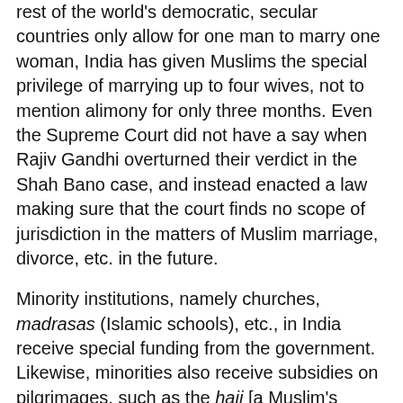rest of the world's democratic, secular countries only allow for one man to marry one woman, India has given Muslims the special privilege of marrying up to four wives, not to mention alimony for only three months. Even the Supreme Court did not have a say when Rajiv Gandhi overturned their verdict in the Shah Bano case, and instead enacted a law making sure that the court finds no scope of jurisdiction in the matters of Muslim marriage, divorce, etc. in the future.
Minority institutions, namely churches, madrasas (Islamic schools), etc., in India receive special funding from the government. Likewise, minorities also receive subsidies on pilgrimages, such as the hajj [a Muslim's pilgrimage to Mecca]. Yet there is no such facility for Hindus, even though we have become a minority in six states in India.
Millions of Kashmiri Hindus have been driven from their ancestral land and are living a dismal life in squatter camps, yet not one government minister is doing anything to address the situation. Sixty ancient temples were destroyed in 1992, but no one said a word. Hindu marriage parties and neighborhoods are singled out and attacked, even children as young as eight are not spared and our papers remain silent. We have become refugees in our own homeland.2
We are not second class, but third class citizens in our own